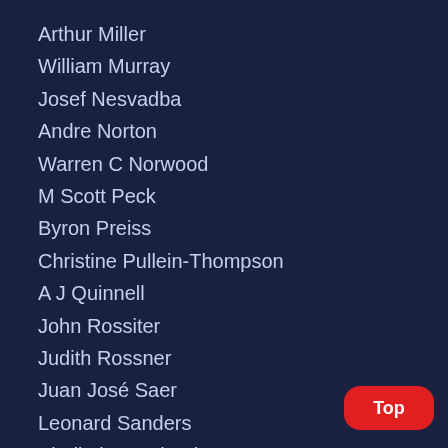Arthur Miller
William Murray
Josef Nesvadba
Andre Norton
Warren C Norwood
M Scott Peck
Byron Preiss
Christine Pullein-Thompson
A J Quinnell
John Rossiter
Judith Rossner
Juan José Saer
Leonard Sanders
Vladimir Savchenko
Mary Lee Settle
Robert Sheckley
Claude Simon
Barbara Burnett Smith
Gustaf Sabin